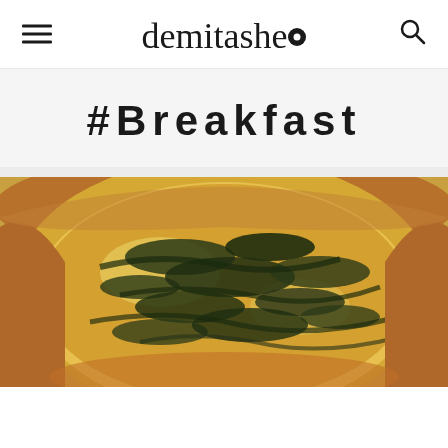demitashe.
#Breakfast
[Figure (photo): Close-up photo of a baked dish in a round ceramic/clay bowl, showing a spinach and cheese quiche or casserole with dark green leafy greens (spinach) baked into a golden egg and cheese custard filling, viewed from slightly above.]